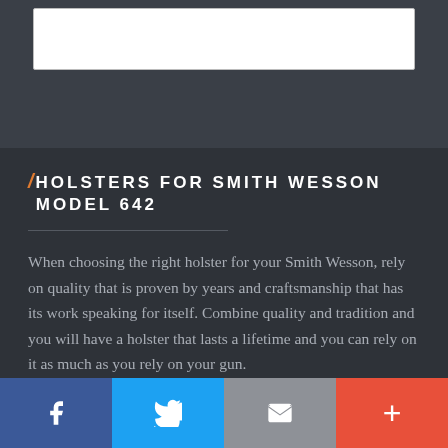[Figure (screenshot): White input box on dark grey background, partial view of a web page top section]
/ HOLSTERS FOR SMITH WESSON MODEL 642
When choosing the right holster for your Smith Wesson, rely on quality that is proven by years and craftsmanship that has its work speaking for itself. Combine quality and tradition and you will have a holster that lasts a lifetime and you can rely on it as much as you rely on your gun.
[Figure (infographic): Social sharing bar with Facebook, Twitter, Email, and plus (+) buttons]